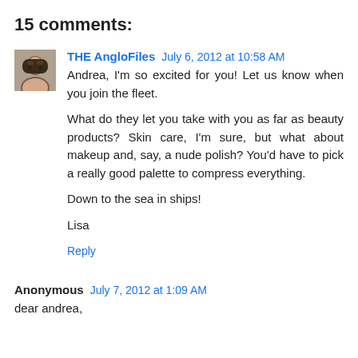15 comments:
THE AngloFiles July 6, 2012 at 10:58 AM
Andrea, I'm so excited for you! Let us know when you join the fleet.

What do they let you take with you as far as beauty products? Skin care, I'm sure, but what about makeup and, say, a nude polish? You'd have to pick a really good palette to compress everything.

Down to the sea in ships!

Lisa

Reply
Anonymous July 7, 2012 at 1:09 AM
dear andrea,